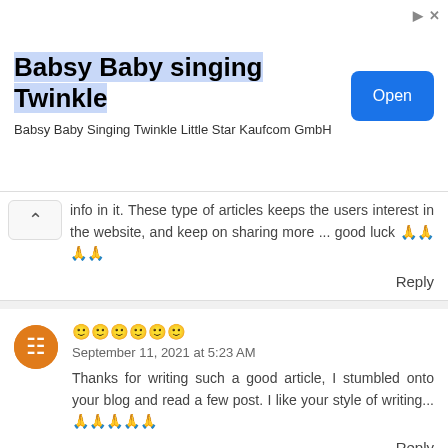[Figure (screenshot): Advertisement banner for 'Babsy Baby singing Twinkle' app by Kaufcom GmbH, with a blue 'Open' button]
info in it. These type of articles keeps the users interest in the website, and keep on sharing more ... good luck 🙏🙏🙏🙏
Reply
🙂🙂🙂🙂🙂🙂
September 11, 2021 at 5:23 AM
Thanks for writing such a good article, I stumbled onto your blog and read a few post. I like your style of writing... 🙏🙏🙏🙏🙏
Reply
MR SMITH